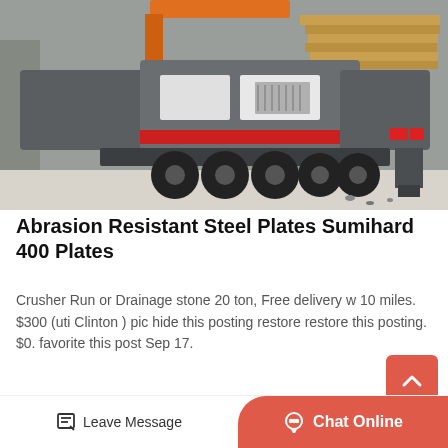[Figure (photo): A large industrial mobile crusher/screening machine mounted on a multi-axle truck trailer, parked in an industrial yard. The machine is grey with a red stripe, carrying stacked timber/planks. The ground is light-coloured concrete.]
Abrasion Resistant Steel Plates Sumihard 400 Plates
Crusher Run or Drainage stone 20 ton, Free delivery w 10 miles. $300 (uti Clinton ) pic hide this posting restore restore this posting. $0. favorite this post Sep 17.
Get Price
Leave Message
Chat Online